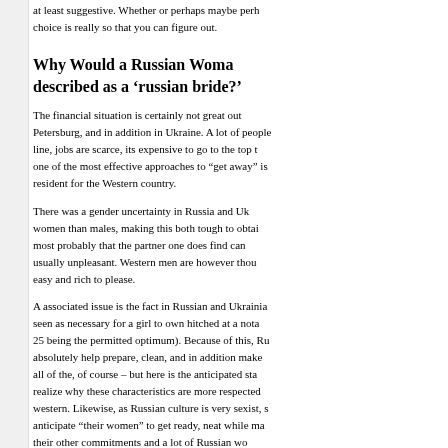at least suggestive. Whether or perhaps maybe perhaps choice is really so that you can figure out.
Why Would a Russian Woman be described as a ‘russian bride?’
The financial situation is certainly not great out Petersburg, and in addition in Ukraine. A lot of people line, jobs are scarce, its expensive to go to the top one of the most effective approaches to “get away” is resident for the Western country.
There was a gender uncertainty in Russia and Ukraine women than males, making this both tough to obtain most probably that the partner one does find can usually unpleasant. Western men are however thought easy and rich to please.
A associated issue is the fact in Russian and Ukrainian seen as necessary for a girl to own hitched at a notable 25 being the permitted optimum). Because of this, Russian absolutely help prepare, clean, and in addition make all of the, of course – but here is the anticipated standard realize why these characteristics are more respected than western. Likewise, as Russian culture is very sexist, s anticipate “their women” to get ready, neat while maintaining their other commitments and a lot of Russian wo